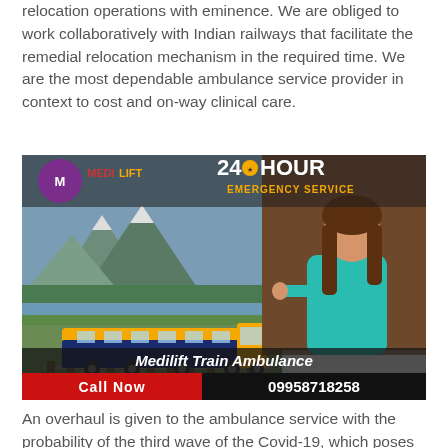relocation operations with eminence. We are obliged to work collaboratively with Indian railways that facilitate the remedial relocation mechanism in the required time. We are the most dependable ambulance service provider in context to cost and on-way clinical care.
[Figure (photo): Medilift Train Ambulance advertisement showing a train on tracks with mountains in background, a female medical professional in teal scrubs, logo 'Medilift' with '24 Hour Emergency Service', and 'Call Now 09958718258' at the bottom.]
An overhaul is given to the ambulance service with the probability of the third wave of the Covid-19, which poses a greater risk to lives. The role of ambulance services was outshined in the era of the ongoing Covid-19 pandemic as the Train